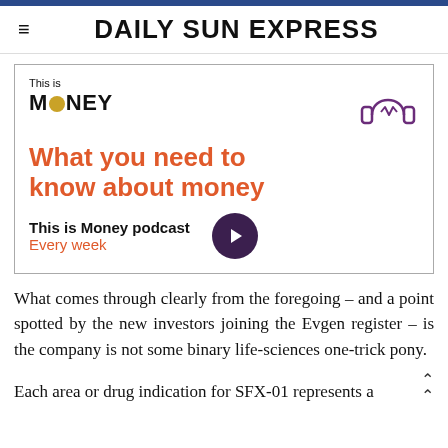DAILY SUN EXPRESS
[Figure (infographic): This is Money podcast advertisement box. Shows 'This is Money' logo with headphone icon, headline 'What you need to know about money', subtext 'This is Money podcast' and 'Every week' with a play button.]
What comes through clearly from the foregoing – and a point spotted by the new investors joining the Evgen register – is the company is not some binary life-sciences one-trick pony.
Each area or drug indication for SFX-01 represents a